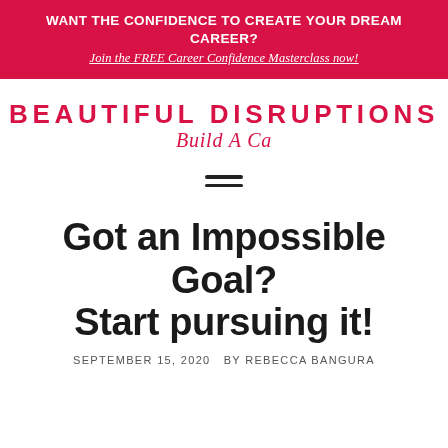WANT THE CONFIDENCE TO CREATE YOUR DREAM CAREER? Join the FREE Career Confidence Masterclass now!
[Figure (logo): Beautiful Disruptions logo with tagline 'Build A Ca']
[Figure (other): Hamburger menu icon with two horizontal lines]
Got an Impossible Goal? Start pursuing it!
SEPTEMBER 15, 2020   BY REBECCA BANGURA